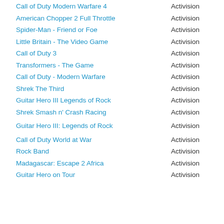Call of Duty Modern Warfare 4 | Activision
American Chopper 2 Full Throttle | Activision
Spider-Man - Friend or Foe | Activision
Little Britain - The Video Game | Activision
Call of Duty 3 | Activision
Transformers - The Game | Activision
Call of Duty - Modern Warfare | Activision
Shrek The Third | Activision
Guitar Hero III Legends of Rock | Activision
Shrek Smash n' Crash Racing | Activision
Guitar Hero III: Legends of Rock | Activision
Call of Duty World at War | Activision
Rock Band | Activision
Madagascar: Escape 2 Africa | Activision
Guitar Hero on Tour | Activision